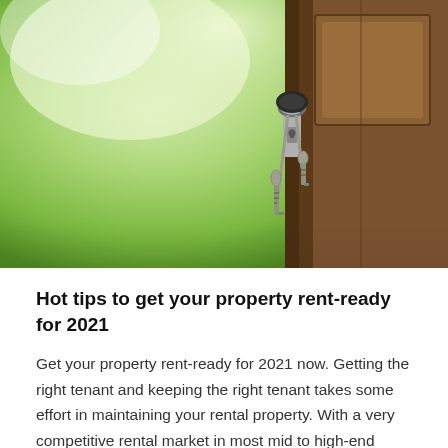[Figure (photo): Close-up photograph of a key in a door lock. The key is on a key ring with a black fob, and two additional keys hang below. The door appears to be a wooden front door with warm brown tones. The background shows blurred green foliage with bright light.]
Hot tips to get your property rent-ready for 2021
Get your property rent-ready for 2021 now. Getting the right tenant and keeping the right tenant takes some effort in maintaining your rental property. With a very competitive rental market in most mid to high-end